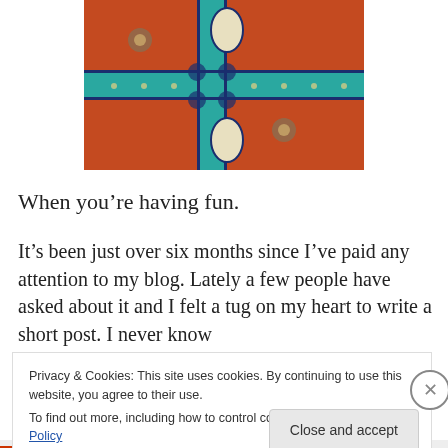[Figure (photo): Close-up photo of an ornate Turkish or Persian carpet/tile with terracotta orange panels, teal/turquoise decorative borders with floral and leaf motifs, and detailed geometric patterns.]
When you’re having fun.
It’s been just over six months since I’ve paid any attention to my blog. Lately a few people have asked about it and I felt a tug on my heart to write a short post. I never know
Privacy & Cookies: This site uses cookies. By continuing to use this website, you agree to their use.
To find out more, including how to control cookies, see here: Cookie Policy
Close and accept